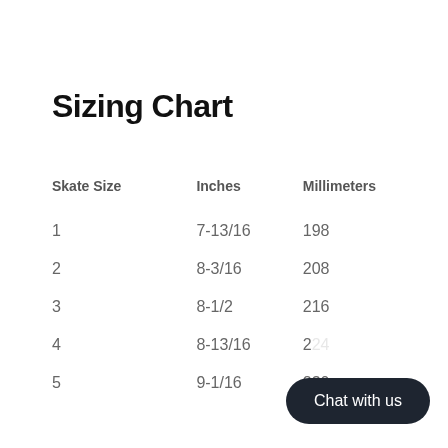Sizing Chart
| Skate Size | Inches | Millimeters |
| --- | --- | --- |
| 1 | 7-13/16 | 198 |
| 2 | 8-3/16 | 208 |
| 3 | 8-1/2 | 216 |
| 4 | 8-13/16 | 224 |
| 5 | 9-1/16 | 230 |